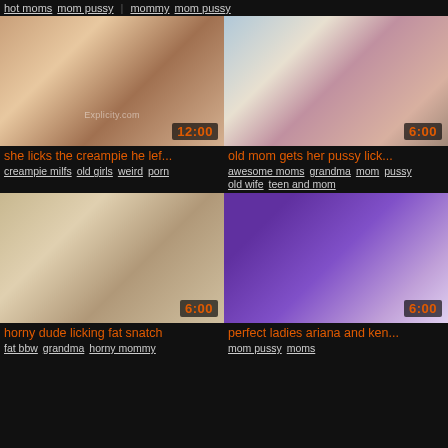hot moms  mom pussy  mommy  mom pussy
[Figure (photo): Video thumbnail - adult content, duration 12:00]
[Figure (photo): Video thumbnail - adult content, duration 6:00]
she licks the creampie he lef...
creampie milfs  old girls  weird  porn
old mom gets her pussy lick...
awesome moms  grandma  mom pussy  old wife  teen and mom
[Figure (photo): Video thumbnail - adult content, duration 6:00]
[Figure (photo): Video thumbnail - adult content, duration 6:00]
horny dude licking fat snatch
fat bbw  grandma  horny mommy
perfect ladies ariana and ken...
mom pussy  moms